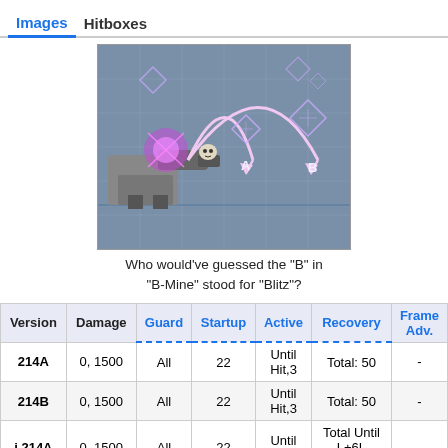Images   Hitboxes
[Figure (screenshot): Game screenshot showing a mech/robot character firing a projectile labeled 'B-Mine' with arc trajectories marked A and B on a grid background with diamond hitbox indicators]
Who would've guessed the "B" in "B-Mine" stood for "Blitz"?
| Version | Damage | Guard | Startup | Active | Recovery | Frame Adv. |
| --- | --- | --- | --- | --- | --- | --- |
| 214A | 0, 1500 | All | 22 | Until Hit,3 | Total: 50 | - |
| 214B | 0, 1500 | All | 22 | Until Hit,3 | Total: 50 | - |
| j.214A | 0, 1500 | All | 22 | Until Hit,3 | Total Until L+6L [Total 51] | - |